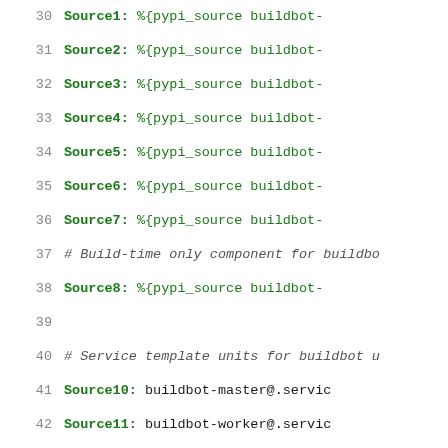[Figure (screenshot): Code editor view showing lines 30-52 of a spec file with line numbers, keywords in bold green, values in green or plain monospace text, and italic comments.]